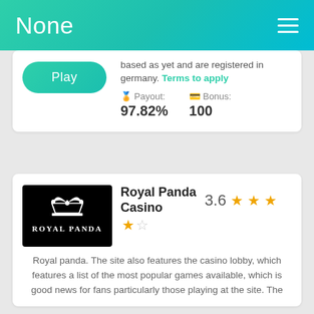None
based as yet and are registered in germany. Terms to apply
Play
Payout: 97.82%   Bonus: 100
Royal Panda Casino  3.6 ★★★★☆
Royal panda. The site also features the casino lobby, which features a list of the most popular games available, which is good news for fans particularly those playing at the site. The